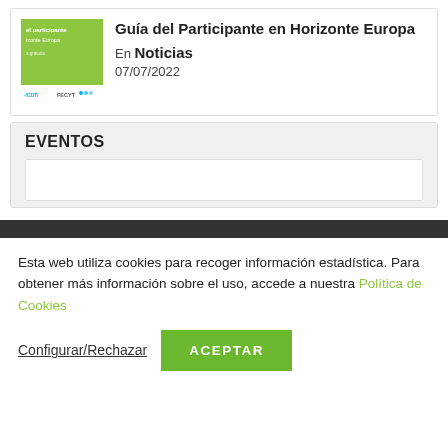[Figure (illustration): Book cover thumbnail for Guía del Participante en Horizonte Europa, green background with white text and CDTI/FECYT logos]
Guía del Participante en Horizonte Europa
En Noticias 07/07/2022
EVENTOS
Esta web utiliza cookies para recoger información estadística. Para obtener más información sobre el uso, accede a nuestra Política de Cookies
Configurar/Rechazar
ACEPTAR